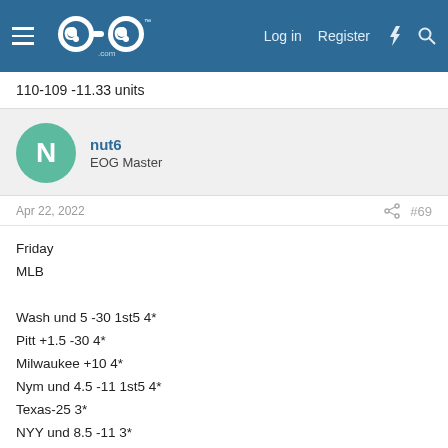EOG (logo) — Log in  Register
110-109 -11.33 units
nut6
EOG Master
Apr 22, 2022   #69
Friday
MLB

Wash und 5 -30 1st5 4*
Pitt +1.5 -30 4*
Milwaukee +10 4*
Nym und 4.5 -11 1st5 4*
Texas-25 3*
NYY und 8.5 -11 3*
Det und 4 -15 1st5 3*
Cinn +1.5 -40 3*
Pitt +55 2*
Pitt und 4.5 -35 1st5 2*